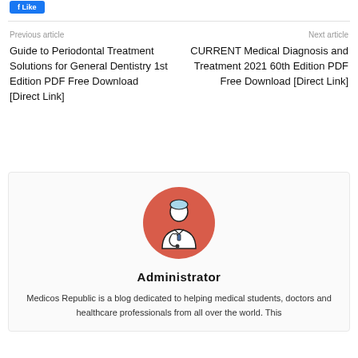[Figure (other): Facebook share button (blue)]
Previous article
Guide to Periodontal Treatment Solutions for General Dentistry 1st Edition PDF Free Download [Direct Link]
Next article
CURRENT Medical Diagnosis and Treatment 2021 60th Edition PDF Free Download [Direct Link]
[Figure (illustration): Doctor/administrator avatar icon: white doctor figure with stethoscope on a red/salmon circular background]
Administrator
Medicos Republic is a blog dedicated to helping medical students, doctors and healthcare professionals from all over the world. This